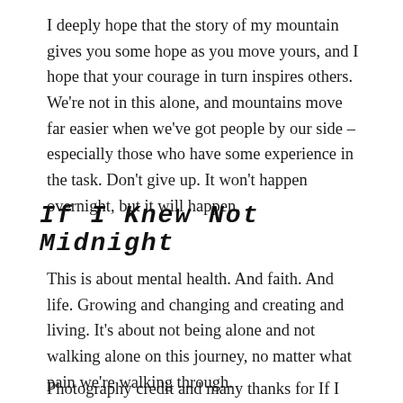I deeply hope that the story of my mountain gives you some hope as you move yours, and I hope that your courage in turn inspires others.  We're not in this alone, and mountains move far easier when we've got people by our side – especially those who have some experience in the task.  Don't give up.  It won't happen overnight, but it will happen.
IF I KNEW NOT MIDNIGHT
This is about mental health. And faith. And life. Growing and changing and creating and living.  It's about not being alone and not walking alone on this journey, no matter what pain we're walking through.
Photography credit and many thanks for If I Knew Not